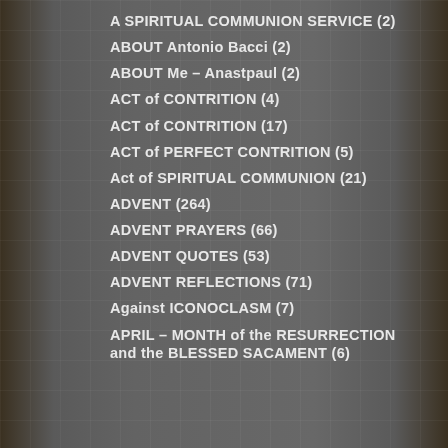A SPIRITUAL COMMUNION SERVICE (2)
ABOUT Antonio Bacci (2)
ABOUT Me – Anastpaul (2)
ACT of CONTRITION (4)
ACT of CONTRITION (17)
ACT of PERFECT CONTRITION (5)
Act of SPIRITUAL COMMUNION (21)
ADVENT (264)
ADVENT PRAYERS (66)
ADVENT QUOTES (53)
ADVENT REFLECTIONS (71)
Against ICONOCLASM (7)
APRIL – MONTH of the RESURRECTION and the BLESSED SACAMENT (6)